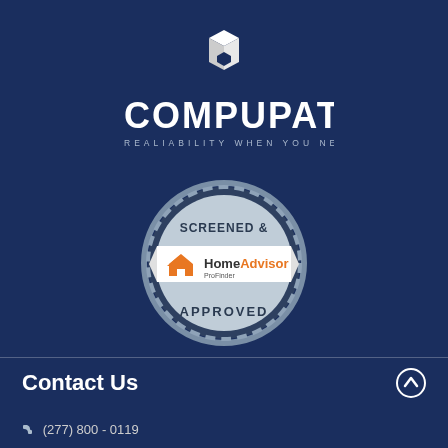[Figure (logo): Compupatch logo with 3D cube icon above white text COMPUPATCH and tagline REALIABILITY WHEN YOU NEED IT]
[Figure (logo): HomeAdvisor Screened and Approved badge/seal]
Contact Us
(277) 800 - 0119